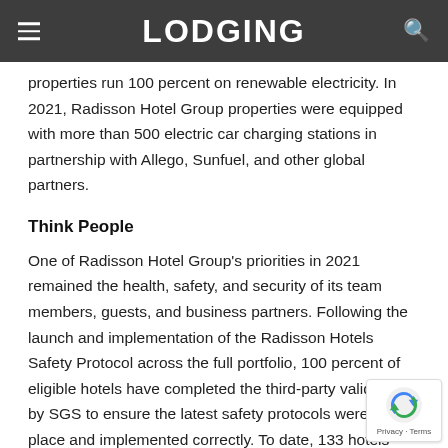LODGING
properties run 100 percent on renewable electricity. In 2021, Radisson Hotel Group properties were equipped with more than 500 electric car charging stations in partnership with Allego, Sunfuel, and other global partners.
Think People
One of Radisson Hotel Group’s priorities in 2021 remained the health, safety, and security of its team members, guests, and business partners. Following the launch and implementation of the Radisson Hotels Safety Protocol across the full portfolio, 100 percent of eligible hotels have completed the third-party validation by SGS to ensure the latest safety protocols were in place and implemented correctly. To date, 133 hotels remain certified by Safe…